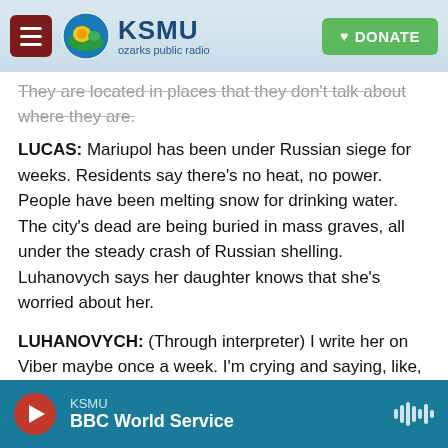KSMU ozarks public radio — DONATE
They are located in places that they don't talk about where they are.
LUCAS: Mariupol has been under Russian siege for weeks. Residents say there's no heat, no power. People have been melting snow for drinking water. The city's dead are being buried in mass graves, all under the steady crash of Russian shelling. Luhanovych says her daughter knows that she's worried about her.
LUHANOVYCH: (Through interpreter) I write her on Viber maybe once a week. I'm crying and saying, like, where are you? How are you? She doesn't
KSMU — BBC World Service